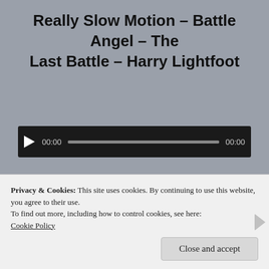Really Slow Motion – Battle Angel – The Last Battle – Harry Lightfoot
[Figure (screenshot): Audio player with play button, 00:00 start time, progress bar, and 00:00 end time on dark background]
[Figure (screenshot): Black video thumbnail/embed]
Privacy & Cookies: This site uses cookies. By continuing to use this website, you agree to their use.
To find out more, including how to control cookies, see here: Cookie Policy
Close and accept